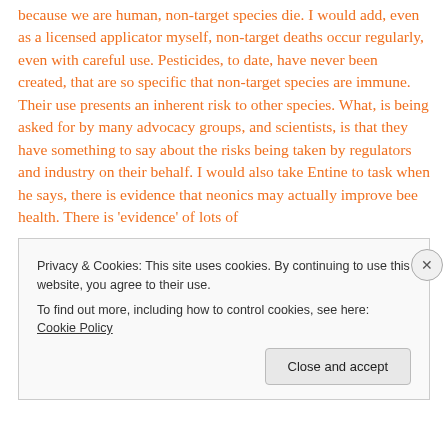because we are human, non-target species die. I would add, even as a licensed applicator myself, non-target deaths occur regularly, even with careful use. Pesticides, to date, have never been created, that are so specific that non-target species are immune. Their use presents an inherent risk to other species. What, is being asked for by many advocacy groups, and scientists, is that they have something to say about the risks being taken by regulators and industry on their behalf. I would also take Entine to task when he says, there is evidence that neonics may actually improve bee health. There is 'evidence' of lots of
Privacy & Cookies: This site uses cookies. By continuing to use this website, you agree to their use.
To find out more, including how to control cookies, see here: Cookie Policy